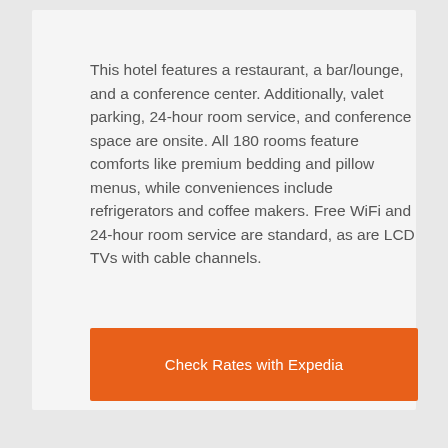This hotel features a restaurant, a bar/lounge, and a conference center. Additionally, valet parking, 24-hour room service, and conference space are onsite. All 180 rooms feature comforts like premium bedding and pillow menus, while conveniences include refrigerators and coffee makers. Free WiFi and 24-hour room service are standard, as are LCD TVs with cable channels.
Check Rates with Expedia